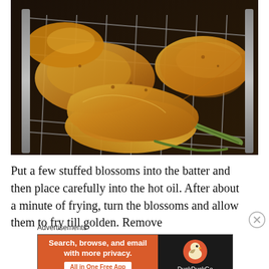[Figure (photo): Close-up photo of battered and fried stuffed blossoms resting on a metal wire cooling rack, golden brown in color.]
Put a few stuffed blossoms into the batter and then place carefully into the hot oil. After about a minute of frying, turn the blossoms and allow them to fry till golden. Remove
[Figure (other): DuckDuckGo advertisement banner: orange left panel with text 'Search, browse, and email with more privacy. All in One Free App' and dark right panel with DuckDuckGo duck logo.]